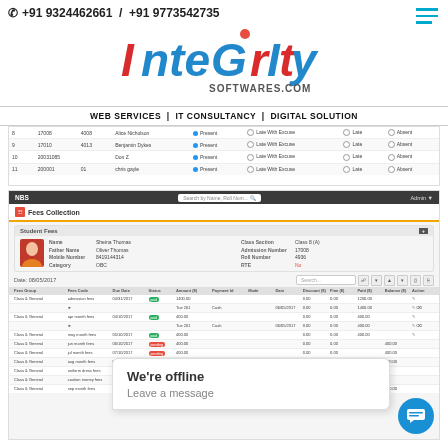☎ +91 9324462661 / +91 9773542735
[Figure (logo): Integrity Softwares.com logo with stylized colorful text]
WEB SERVICES | IT CONSULTANCY | DIGITAL SOLUTION
[Figure (screenshot): Attendance table screenshot showing rows with student IDs, names, and attendance radio buttons (Present, Late With Excuse, Late, Absent)]
[Figure (screenshot): Fees Collection screen showing Student Fees panel with student info (Sheina Thomas, Father: Oliver Thomas, Mobile: 8419144314, Category: OBC, Class Section: Class 8 (A), Admission Number: 17008, Roll Number: 4936, RTE: No) and fees table rows for Class & General fees group including admission fees, apr month fees, may month fees, jun month fees, etc.]
We're offline
Leave a message